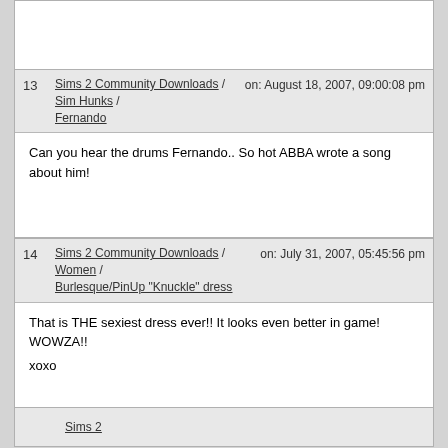(blank top section)
13  Sims 2 Community Downloads / Sim Hunks / Fernando  on: August 18, 2007, 09:00:08 pm
Can you hear the drums Fernando.. So hot ABBA wrote a song about him!
14  Sims 2 Community Downloads / Women / Burlesque/PinUp "Knuckle" dress  on: July 31, 2007, 05:45:56 pm
That is THE sexiest dress ever!! It looks even better in game! WOWZA!!
xoxo
Sims 2